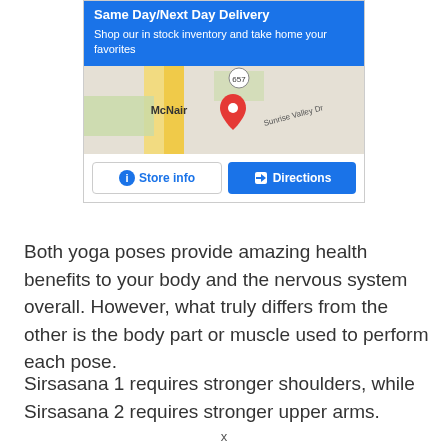[Figure (screenshot): Advertisement box with blue header showing 'Same Day/Next Day Delivery' and subtext 'Shop our in stock inventory and take home your favorites', a Google map thumbnail showing McNair area with a red location pin near route 657 and Sunrise Valley Dr, and two buttons: 'Store info' (white background, blue text) and 'Directions' (blue background, white text).]
Both yoga poses provide amazing health benefits to your body and the nervous system overall. However, what truly differs from the other is the body part or muscle used to perform each pose.
Sirsasana 1 requires stronger shoulders, while Sirsasana 2 requires stronger upper arms.